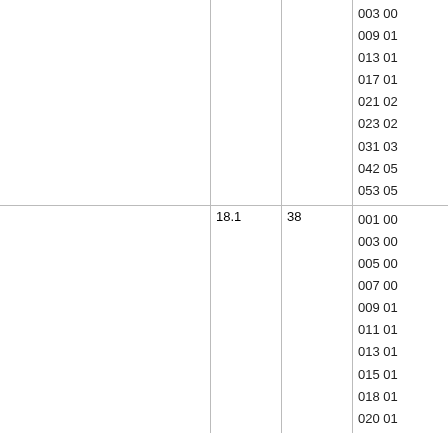|  |  |  | codes |
| --- | --- | --- | --- |
|  |  |  | 003 00
009 01
013 01
017 01
021 02
023 02
031 03
042 05
053 05 |
|  | 18.1 | 38 | 001 00
003 00
005 00
007 00
009 01
011 01
013 01
015 01
018 01
020 01 |